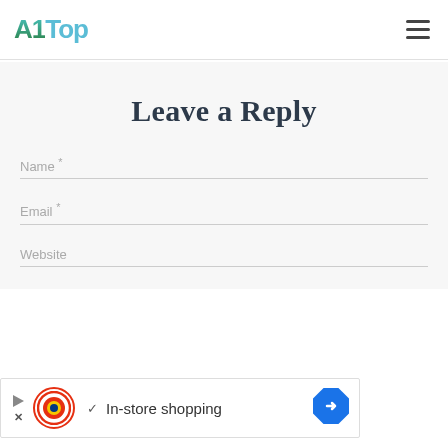A1Top
Leave a Reply
Name *
Email *
Website
[Figure (infographic): Advertisement banner for Lidl showing Lidl logo, checkmark, 'In-store shopping' text, and a blue navigation arrow icon]